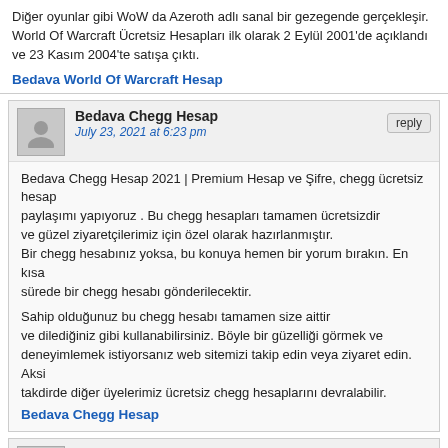Diğer oyunlar gibi WoW da Azeroth adlı sanal bir gezegende gerçekleşir. World Of Warcraft Ücretsiz Hesapları ilk olarak 2 Eylül 2001'de açıklandı ve 23 Kasım 2004'te satışa çıktı.
Bedava World Of Warcraft Hesap
Bedava Chegg Hesap
July 23, 2021 at 6:23 pm
reply
Bedava Chegg Hesap 2021 | Premium Hesap ve Şifre, chegg ücretsiz hesap
paylaşımı yapıyoruz . Bu chegg hesapları tamamen ücretsizdir
ve güzel ziyaretçilerimiz için özel olarak hazırlanmıştır.
Bir chegg hesabınız yoksa, bu konuya hemen bir yorum bırakın. En kısa sürede bir chegg hesabı gönderilecektir.

Sahip olduğunuz bu chegg hesabı tamamen size aittir
ve dilediğiniz gibi kullanabilirsiniz. Böyle bir güzelliği görmek ve deneyimlemek istiyorsanız web sitemizi takip edin veya ziyaret edin. Aksi takdirde diğer üyelerimiz ücretsiz chegg hesaplarını devralabilir.
Bedava Chegg Hesap
PaulFrase
July 23, 2021 at 6:40 pm
reply
[url=https://medicinecialis.com/]tadalafil tablets 20mg[/url]
[url=https://cialisdf.com/]ordering cialis online in australia[/url]
[url=https://cialisconnect.com/]generic cialis online pharmacy[/url]